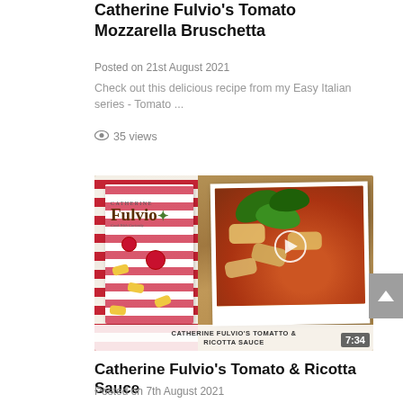Catherine Fulvio's Tomato Mozzarella Bruschetta
Posted on 21st August 2021
Check out this delicious recipe from my Easy Italian series - Tomato ...
35 views
[Figure (screenshot): Video thumbnail for Catherine Fulvio's Tomato & Ricotta Sauce, showing the Catherine Fulvio logo on a red and white striped background with pasta shapes on the left, and a plate of pasta with tomato sauce and fresh basil leaves on the right. A play button overlay is visible. Duration badge shows 7:34. Bottom caption reads: CATHERINE FULVIO'S TOMATTO & RICOTTA SAUCE]
Catherine Fulvio's Tomato & Ricotta Sauce
Posted on 7th August 2021